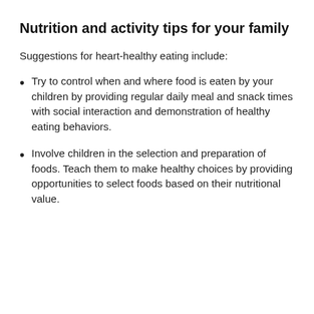Nutrition and activity tips for your family
Suggestions for heart-healthy eating include:
Try to control when and where food is eaten by your children by providing regular daily meal and snack times with social interaction and demonstration of healthy eating behaviors.
Involve children in the selection and preparation of foods. Teach them to make healthy choices by providing opportunities to select foods based on their nutritional value.